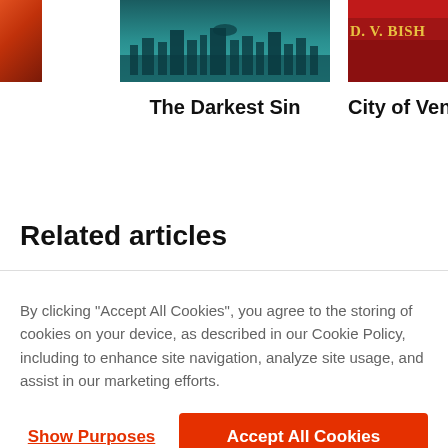[Figure (photo): Partial book cover on far left, red/orange gradient]
[Figure (photo): Book cover for 'The Darkest Sin' with teal city skyline]
The Darkest Sin
[Figure (photo): Book cover for 'City of Vengea...' by D.V. Bishop, partially cropped on right]
City of Vengea
Related articles
By clicking “Accept All Cookies”, you agree to the storing of cookies on your device, as described in our Cookie Policy, including to enhance site navigation, analyze site usage, and assist in our marketing efforts.
Show Purposes
Accept All Cookies